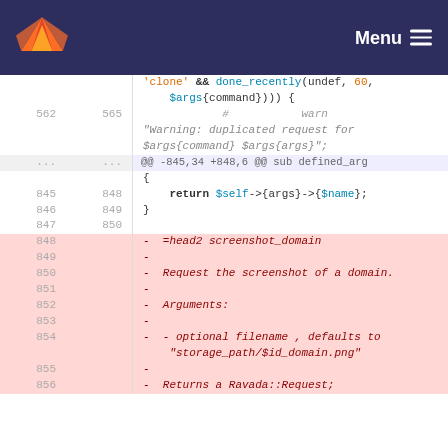GitLab Menu
[Figure (screenshot): GitLab diff view showing code changes. Context lines show Perl code with 'clone' && done_recently, return $self->{args}->{$name}, and removed lines for =head2 screenshot_domain documentation block.]